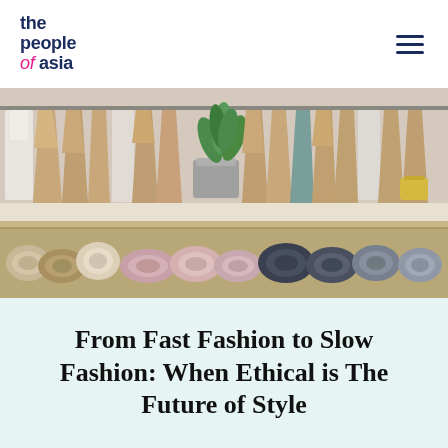the people of asia
[Figure (photo): A fashion atelier shelf with garments wrapped in kraft paper hanging on a rack above, and rolls of fabric in various colors (beige, pink, dark blue, white) stored below on wooden shelves. A green potted plant sits in the center of the shelf.]
From Fast Fashion to Slow Fashion: When Ethical is The Future of Style